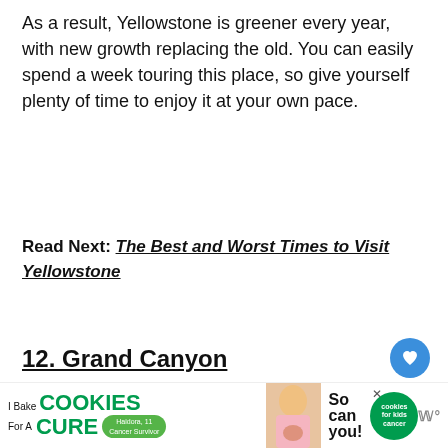As a result, Yellowstone is greener every year, with new growth replacing the old. You can easily spend a week touring this place, so give yourself plenty of time to enjoy it at your own pace.
Read Next: The Best and Worst Times to Visit Yellowstone
12. Grand Canyon
[Figure (photo): Photo of the Grand Canyon showing layered red rock formations with a wide canyon view and blue sky with clouds. An overlay shows a 'What's Next' widget with a thumbnail and text '11 Best Science...'.]